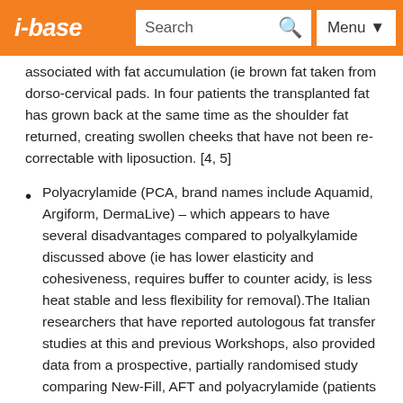i-base | Search | Menu
associated with fat accumulation (ie brown fat taken from dorso-cervical pads. In four patients the transplanted fat has grown back at the same time as the shoulder fat returned, creating swollen cheeks that have not been re-correctable with liposuction. [4, 5]
Polyacrylamide (PCA, brand names include Aquamid, Argiform, DermaLive) – which appears to have several disadvantages compared to polyalkylamide discussed above (ie has lower elasticity and cohesiveness, requires buffer to counter acidy, is less heat stable and less flexibility for removal).The Italian researchers that have reported autologous fat transfer studies at this and previous Workshops, also provided data from a prospective, partially randomised study comparing New-Fill, AFT and polyacrylamide (patients who had